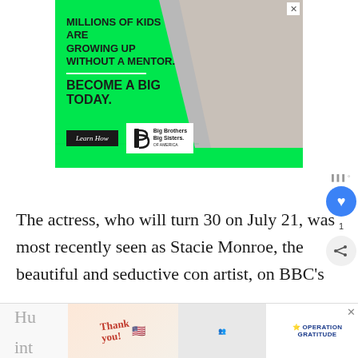[Figure (infographic): Big Brothers Big Sisters of America advertisement. Green background with bold black text: 'MILLIONS OF KIDS ARE GROWING UP WITHOUT A MENTOR.' followed by 'BECOME A BIG TODAY.' A 'Learn How' button and the BBBS logo are shown. A photo of a man and child is in the upper right corner.]
The actress, who will turn 30 on July 21, was most recently seen as Stacie Monroe, the beautiful and seductive con artist, on BBC's
[Figure (infographic): Operation Gratitude advertisement with 'Thank you!' handwritten text, American flag, photo of people holding packages, and Operation Gratitude logo. Partially visible at bottom.]